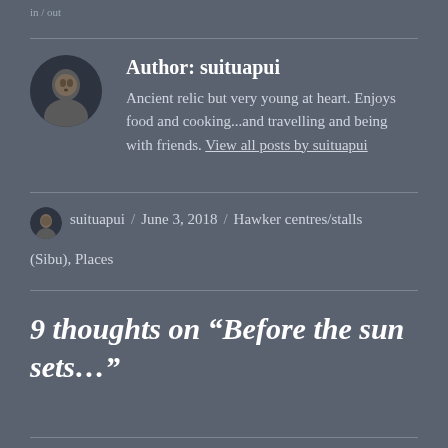in / out
Author: suituapui
Ancient relic but very young at heart. Enjoys food and cooking...and travelling and being with friends. View all posts by suituapui
suituapui / June 3, 2018 / Hawker centres/stalls (Sibu), Places
9 thoughts on “Before the sun sets…”